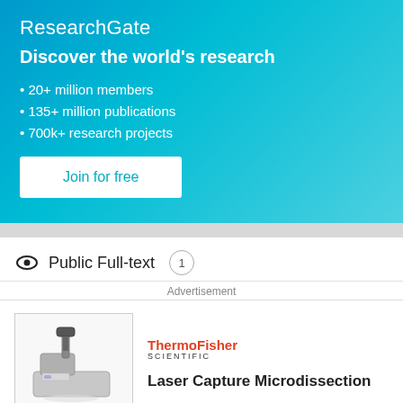ResearchGate
Discover the world's research
20+ million members
135+ million publications
700k+ research projects
Join for free
Public Full-text 1
Advertisement
[Figure (photo): Thermo Fisher Scientific Laser Capture Microdissection instrument — a laboratory device shown from the side, grey/white body with microscope head]
ThermoFisher SCIENTIFIC
Laser Capture Microdissection